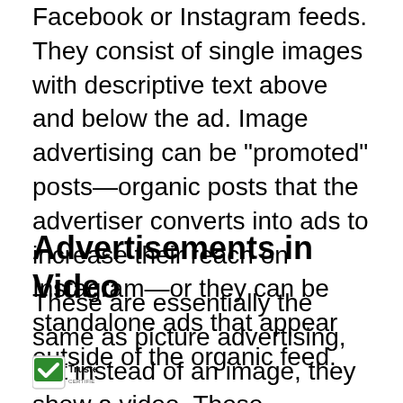Facebook or Instagram feeds. They consist of single images with descriptive text above and below the ad. Image advertising can be "promoted" posts—organic posts that the advertiser converts into ads to increase their reach on Instagram—or they can be standalone ads that appear outside of the organic feed.
Advertisements in Video
These are essentially the same as picture advertising, but instead of an image, they show a video. These commercials are ideal for s...otional videos, DIY projects, or
[Figure (logo): TrustedSite certified secure badge with green checkmark]